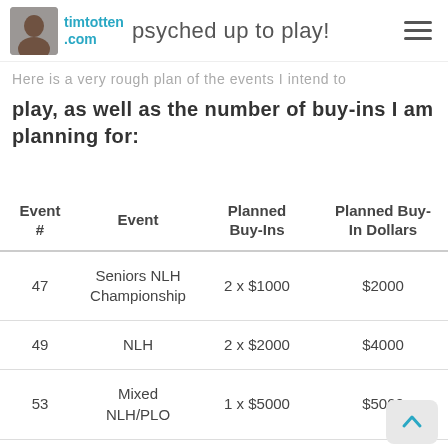timtotten.com — psyched up to play!
Here is a very rough plan of the events I intend to play, as well as the number of buy-ins I am planning for:
| Event # | Event | Planned Buy-Ins | Planned Buy-In Dollars |
| --- | --- | --- | --- |
| 47 | Seniors NLH Championship | 2 x $1000 | $2000 |
| 49 | NLH | 2 x $2000 | $4000 |
| 53 | Mixed NLH/PLO | 1 x $5000 | $5000 |
| 55 | Tag Team NLH Freezeout | 0.5 x $1000 | $500 |
| Online | Online Deepstack |  |  |